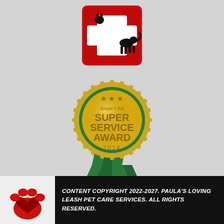[Figure (logo): Red square logo with white medical cross and black silhouettes of a cat and a dog]
[Figure (logo): Angie's List Super Service Award 2014 gold medal badge with green ribbon, stars at top]
CONTENT COPYRIGHT 2022-2027. PAULA'S LOVING LEASH PET CARE SERVICES. ALL RIGHTS RESERVED.